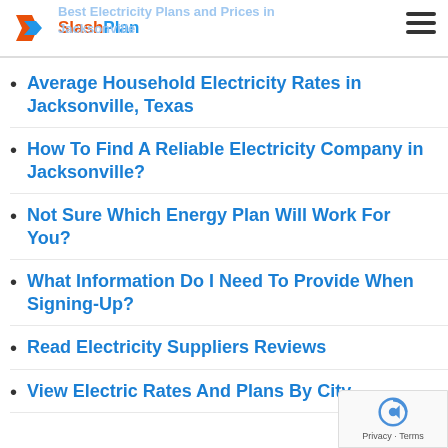Best Electricity Plans and Prices in Jacksonville | SlashPlan
Average Household Electricity Rates in Jacksonville, Texas
How To Find A Reliable Electricity Company in Jacksonville?
Not Sure Which Energy Plan Will Work For You?
What Information Do I Need To Provide When Signing-Up?
Read Electricity Suppliers Reviews
View Electric Rates And Plans By City